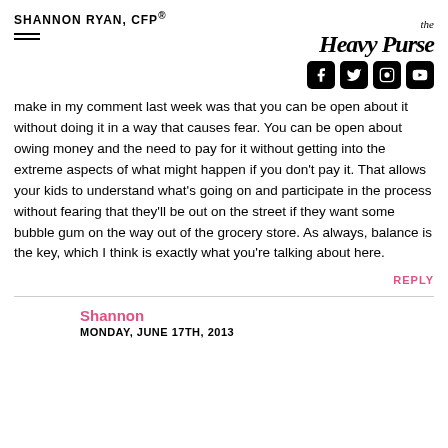SHANNON RYAN, CFP®
[Figure (logo): The Heavy Purse logo with social media icons (Facebook, Twitter, Instagram, YouTube)]
make in my comment last week was that you can be open about it without doing it in a way that causes fear. You can be open about owing money and the need to pay for it without getting into the extreme aspects of what might happen if you don't pay it. That allows your kids to understand what's going on and participate in the process without fearing that they'll be out on the street if they want some bubble gum on the way out of the grocery store. As always, balance is the key, which I think is exactly what you're talking about here.
REPLY
Shannon
MONDAY, JUNE 17TH, 2013